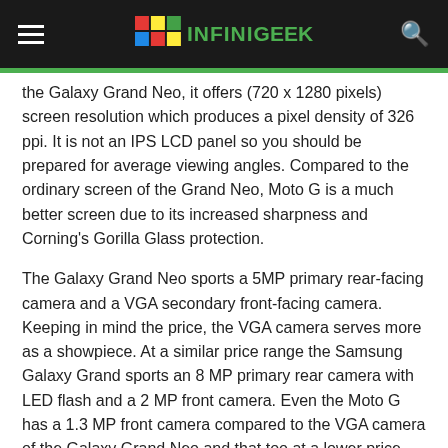INFINIGEEK
the Galaxy Grand Neo, it offers (720 x 1280 pixels) screen resolution which produces a pixel density of 326 ppi. It is not an IPS LCD panel so you should be prepared for average viewing angles. Compared to the ordinary screen of the Grand Neo, Moto G is a much better screen due to its increased sharpness and Corning's Gorilla Glass protection.
The Galaxy Grand Neo sports a 5MP primary rear-facing camera and a VGA secondary front-facing camera. Keeping in mind the price, the VGA camera serves more as a showpiece. At a similar price range the Samsung Galaxy Grand sports an 8 MP primary rear camera with LED flash and a 2 MP front camera. Even the Moto G has a 1.3 MP front camera compared to the VGA camera of the Galaxy Grand Neo and that too at a lower price. Even the Xolo Q1000 S offers much better features as the device features a 13 MP rear and 5 MP front camera.